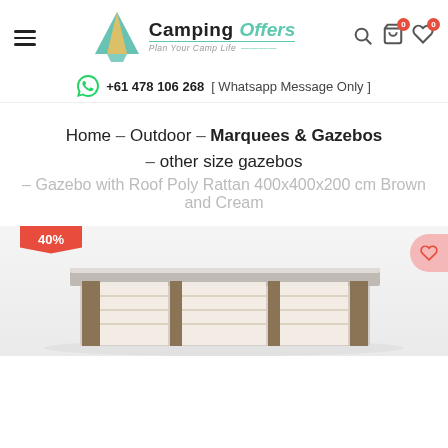[Figure (logo): Camping Offers logo with tent graphic and tagline 'Plan Your Camp Life']
+61 478 106 268 [ Whatsapp Message Only ]
Home – Outdoor – Marquees & Gazebos – other size gazebos
– Gazebo with Roof Poly Rattan 400x400x200 cm Brown and Cream
[Figure (photo): Product photo of a gazebo with roof poly rattan, brown and cream colors, with a 40% discount badge]